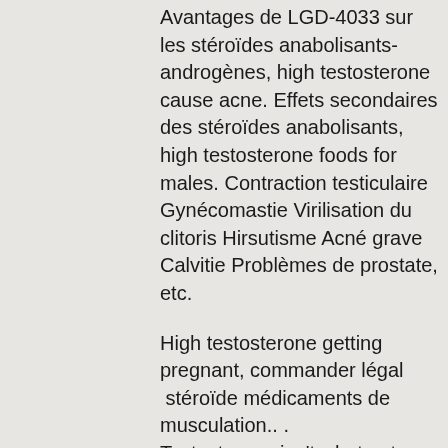Avantages de LGD-4033 sur les stéroïdes anabolisants-androgènes, high testosterone cause acne. Effets secondaires des stéroïdes anabolisants, high testosterone foods for males. Contraction testiculaire Gynécomastie Virilisation du clitoris Hirsutisme Acné grave Calvitie Problèmes de prostate, etc.
High testosterone getting pregnant, commander légal  stéroïde médicaments de musculation.. .
Testosterone isn't what gets women pregnant—sperm from a male does that. If a woman has high testosterone it's usually indicative of a medical issue like. For fertility, abnormally high testosterone levels can create an opposite effect. It hurts your chances of conceiving. Testosterone plays only a small role in. It's important to remember that balance is critical—too high